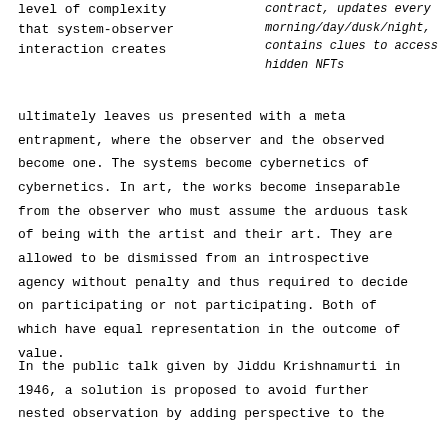level of complexity
that system-observer
interaction creates
contract, updates every morning/day/dusk/night, contains clues to access hidden NFTs
ultimately leaves us presented with a meta entrapment, where the observer and the observed become one. The systems become cybernetics of cybernetics. In art, the works become inseparable from the observer who must assume the arduous task of being with the artist and their art. They are allowed to be dismissed from an introspective agency without penalty and thus required to decide on participating or not participating. Both of which have equal representation in the outcome of value.
In the public talk given by Jiddu Krishnamurti in 1946, a solution is proposed to avoid further nested observation by adding perspective to the